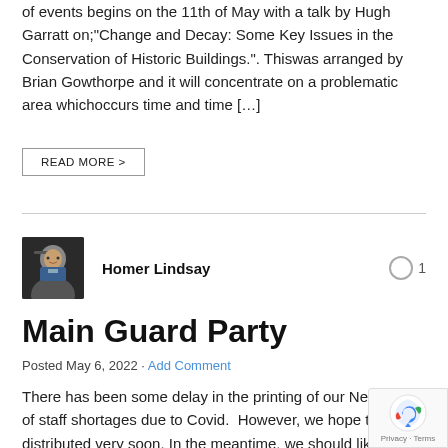of events begins on the 11th of May with a talk by Hugh Garratt on;"Change and Decay: Some Key Issues in the Conservation of Historic Buildings.". Thiswas arranged by Brian Gowthorpe and it will concentrate on a problematic area whichoccurs time and time […]
READ MORE >
Homer Lindsay
Main Guard Party
Posted May 6, 2022 · Add Comment
There has been some delay in the printing of our Newsletter of staff shortages due to Covid.  However, we hope to have distributed very soon. In the meantime, we should like members to